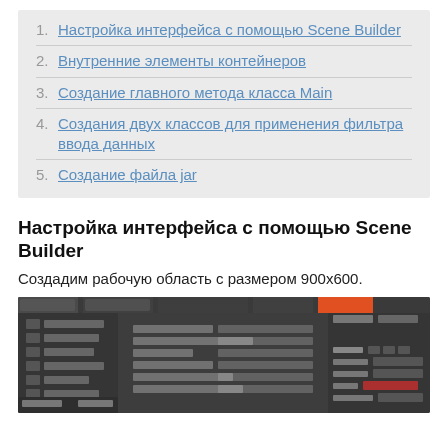1. Настройка интерфейса с помощью Scene Builder
2. Внутренние элементы контейнеров
3. Создание главного метода класса Main
4. Создания двух классов для применения фильтра ввода данных
5. Создание файла jar
Настройка интерфейса с помощью Scene Builder
Создадим рабочую область с размером 900х600.
[Figure (screenshot): Screenshot of Scene Builder interface showing a form layout with fields and properties panel on the right side]